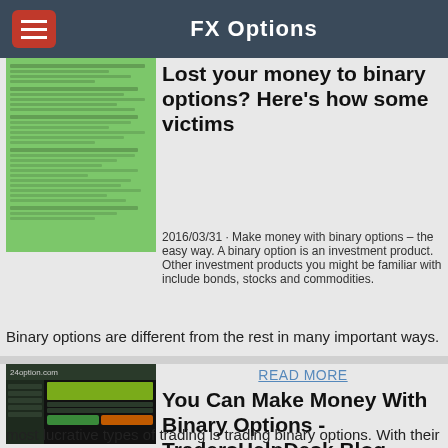FX Options
Lost your money to binary options? Here's how some victims
2016/03/31 · Make money with binary options – the easy way. A binary option is an investment product. Other investment products you might be familiar with include bonds, stocks and commodities.
Binary options are different from the rest in many important ways.
READ MORE
You Can Make Money With Binary Options - TradersHelpDesk Blog
2016/10/21 · One of the simplest and most lucrative types of trading is trading binary options. With their